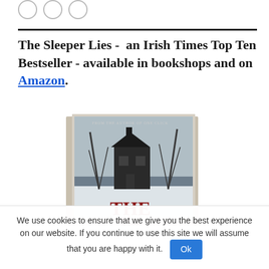[Figure (illustration): Three small overlapping circle icons (social media or navigation icons) at the top left]
The Sleeper Lies -  an Irish Times Top Ten Bestseller - available in bookshops and on Amazon.
[Figure (photo): Book cover of 'The Sleeper Lies' showing a dark house in snow with bare trees, subtitle 'FROM THE AUTHOR OF ONE CLICK', large red text 'THE' at bottom]
We use cookies to ensure that we give you the best experience on our website. If you continue to use this site we will assume that you are happy with it. Ok